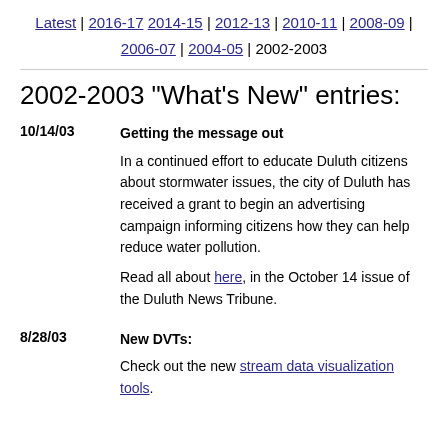Latest | 2016-17 2014-15 | 2012-13 | 2010-11 | 2008-09 | 2006-07 | 2004-05 | 2002-2003
2002-2003 "What's New" entries:
10/14/03 - Getting the message out - In a continued effort to educate Duluth citizens about stormwater issues, the city of Duluth has received a grant to begin an advertising campaign informing citizens how they can help reduce water pollution. Read all about here, in the October 14 issue of the Duluth News Tribune.
8/28/03 - New DVTs: - Check out the new stream data visualization tools.